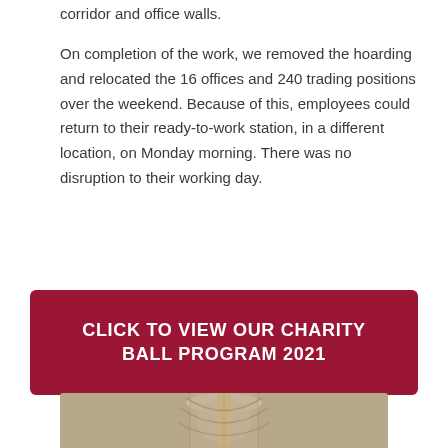corridor and office walls.
On completion of the work, we removed the hoarding and relocated the 16 offices and 240 trading positions over the weekend. Because of this, employees could return to their ready-to-work station, in a different location, on Monday morning. There was no disruption to their working day.
CLICK TO VIEW OUR CHARITY BALL PROGRAM 2021
[Figure (photo): Partial view of a decorative lamp or light fixture, bottom of the page]